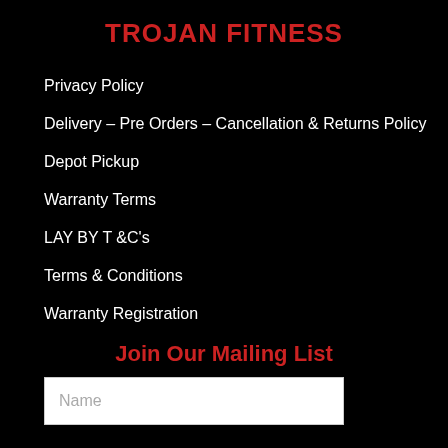TROJAN FITNESS
Privacy Policy
Delivery – Pre Orders – Cancellation & Returns Policy
Depot Pickup
Warranty Terms
LAY BY T &C's
Terms & Conditions
Warranty Registration
Join Our Mailing List
Name